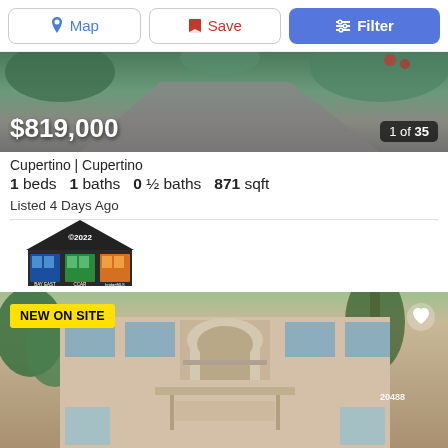[Figure (screenshot): Top navigation bar with Map, Save, and Filter buttons]
[Figure (photo): Aerial/driveway photo of listing with price overlay $819,000 and 1 of 35 indicator]
Cupertino | Cupertino
1 beds  1 baths  0 ½ baths  871 sqft
Listed 4 Days Ago
[Figure (logo): MLS ©2022 Bay East, CCAR, bridgeMLS logo]
[Figure (photo): Exterior photo of apartment building with NEW ON SITE badge and heart icon, showing address 20488]